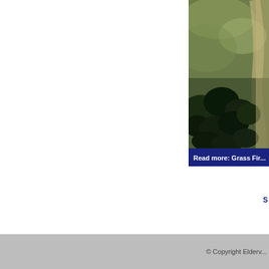[Figure (photo): Aerial satellite view showing grassland/field area in upper portion transitioning to dense tree canopy (dark green/black) in lower portion, with a pale sandy path or clearing visible on the right edge. The image is cropped and appears in the upper-right of the page.]
Read more: Grass Fir...
S
© Copyright Elderv...